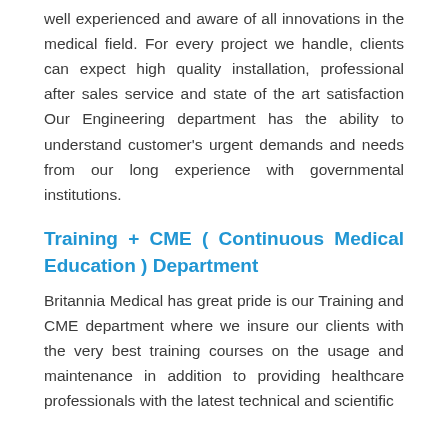well experienced and aware of all innovations in the medical field. For every project we handle, clients can expect high quality installation, professional after sales service and state of the art satisfaction Our Engineering department has the ability to understand customer's urgent demands and needs from our long experience with governmental institutions.
Training + CME ( Continuous Medical Education ) Department
Britannia Medical has great pride is our Training and CME department where we insure our clients with the very best training courses on the usage and maintenance in addition to providing healthcare professionals with the latest technical and scientific